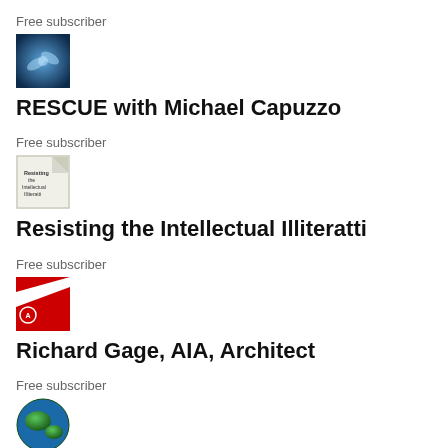Free subscriber
[Figure (illustration): Thumbnail image with blue glowing hands reaching toward each other on dark background]
RESCUE with Michael Capuzzo
Free subscriber
[Figure (illustration): Thumbnail image of a book cover titled Resisting the Intellectual Illiteratti]
Resisting the Intellectual Illiteratti
Free subscriber
[Figure (logo): Red logo with white diagonal stripe and small emblem, Richard Gage AIA Architect]
Richard Gage, AIA, Architect
Free subscriber
[Figure (illustration): Globe thumbnail showing earth from above]